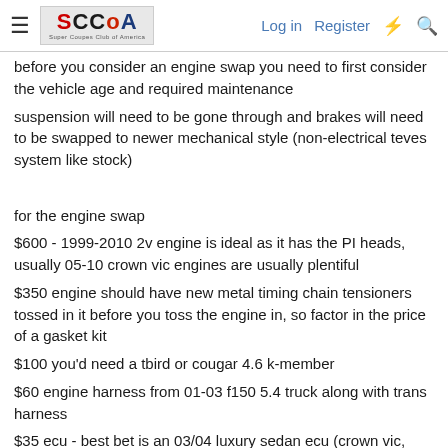SCCoA — Super Coupe Club of America | Log in | Register
before you consider an engine swap you need to first consider the vehicle age and required maintenance
suspension will need to be gone through and brakes will need to be swapped to newer mechanical style (non-electrical teves system like stock)

for the engine swap
$600 - 1999-2010 2v engine is ideal as it has the PI heads, usually 05-10 crown vic engines are usually plentiful
$350 engine should have new metal timing chain tensioners tossed in it before you toss the engine in, so factor in the price of a gasket kit
$100 you'd need a tbird or cougar 4.6 k-member
$60 engine harness from 01-03 f150 5.4 truck along with trans harness
$35 ecu - best bet is an 03/04 luxury sedan ecu (crown vic, grand marquis, marauder, town car, etc...) sourced from local u pull it
$250 moates quarterhorse for tuning direct from moates.net
$100 fluids, consumables and piece parts